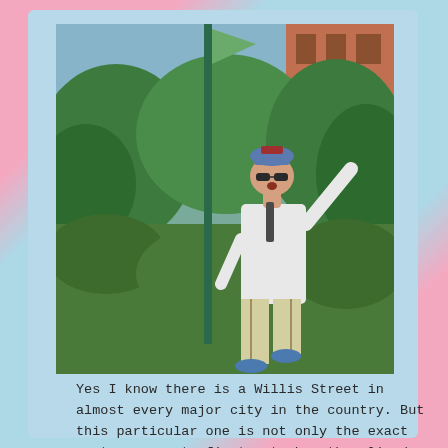[Figure (photo): A person in a white blazer, light-colored striped pants, blue hat, and sunglasses posing outdoors with one arm raised, pointing upward, next to a tall green pole. Background shows lush green bushes and trees, and a brick building in the upper right.]
Yes I know there is a Willis Street in almost every major city in the country. But this particular one is not only the exact spot my parents first met when they lived kitty corner from each in Detroit oh so may years ago, but it's also the street that was